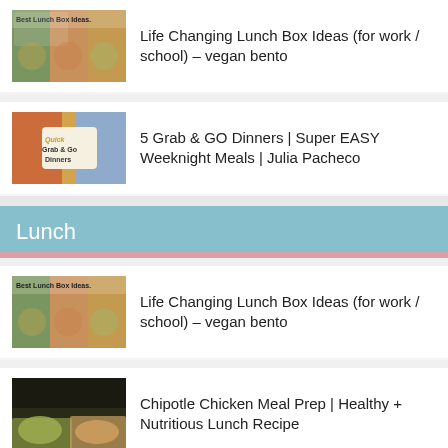Life Changing Lunch Box Ideas (for work / school) – vegan bento
5 Grab & GO Dinners | Super EASY Weeknight Meals | Julia Pacheco
Lunch
Life Changing Lunch Box Ideas (for work / school) – vegan bento
Chipotle Chicken Meal Prep | Healthy + Nutritious Lunch Recipe